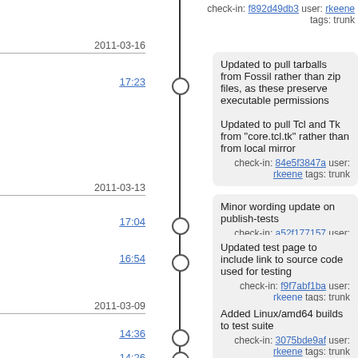check-in: f892d49db3 user: rkeene tags: trunk
2011-03-16
17:23
Updated to pull tarballs from Fossil rather than zip files, as these preserve executable permissions

Updated to pull Tcl and Tk from "core.tcl.tk" rather than from local mirror

check-in: 84e5f3847a user: rkeene tags: trunk
2011-03-13
17:04
Minor wording update on publish-tests
check-in: a52f177157 user: rkeene tags: trunk
16:54
Updated test page to include link to source code used for testing
check-in: f9f7abf1ba user: rkeene tags: trunk
2011-03-09
14:36
Added Linux/amd64 builds to test suite
check-in: 3075bde9af user: rkeene tags: trunk
14:26